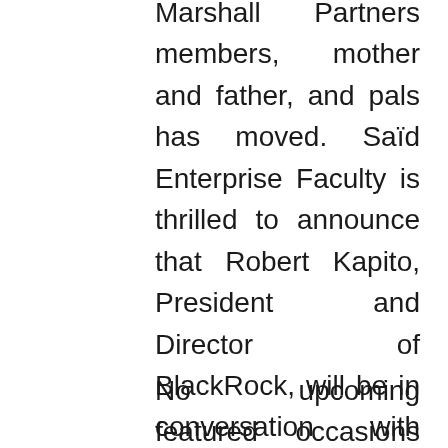Marshall Partners members, mother and father, and pals has moved. Saïd Enterprise Faculty is thrilled to announce that Robert Kapito, President and Director of BlackRock, will be in conversation with Dean Peter Tufano on the Faculty on Thursday 2 November. Enterprise Occasions NY welcomes Business house owners, Entrepreneurs, Advertising Directors, Enterprise Professionals, and anyone seeking to grow their network and enterprise.
No upcoming featured occasions are scheduled right now, nevertheless occasions are added regularly. As an skilled Certified Business Coach and Ramsey Personality, she